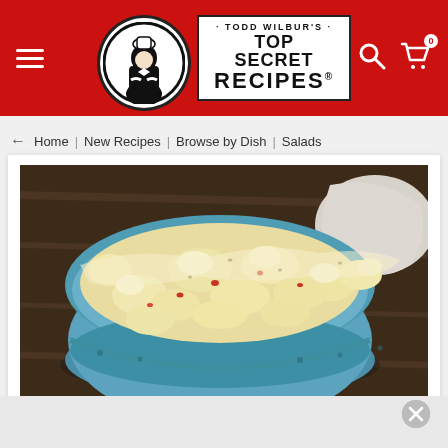Todd Wilbur's Top Secret Recipes
← Home | New Recipes | Browse by Dish | Salads
[Figure (photo): A blue ceramic bowl filled with creamy potato salad containing chunks of potato, visible red pepper bits, and creamy dressing, sitting on a dark wooden surface with a white cloth napkin in the background.]